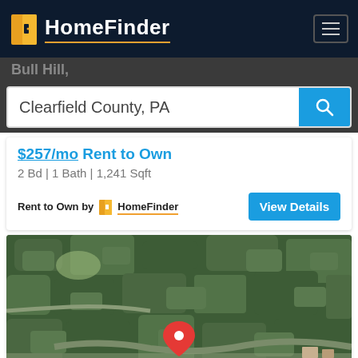HomeFinder
Bull Hill,
Clearfield County, PA
$257/mo Rent to Own
2 Bd | 1 Bath | 1,241 Sqft
Rent to Own by HomeFinder
View Details
[Figure (map): Aerial satellite map view of a wooded rural area with a red location pin marker, showing Clearfield County, PA property location]